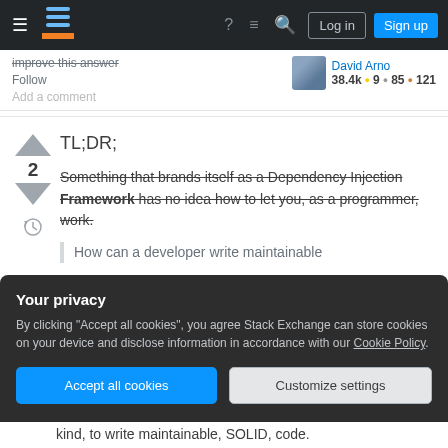Stack Exchange navigation bar with hamburger, logo, help, chat, search, Log in, Sign up
improve this answer
Follow
Add a comment
David Arno  38.4k  9  85  121
TL;DR;
Something that brands itself as a Dependency Injection Framework has no idea how to let you, as a programmer, work.
How can a developer write maintainable
Your privacy
By clicking "Accept all cookies", you agree Stack Exchange can store cookies on your device and disclose information in accordance with our Cookie Policy.
Accept all cookies
Customize settings
kind, to write maintainable, SOLID, code.